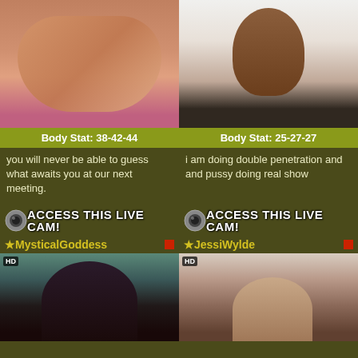[Figure (photo): Close-up photo of a person lying on pink fabric]
[Figure (photo): Portrait of a woman with short dark hair in black jacket]
Body Stat: 38-42-44
Body Stat: 25-27-27
you will never be able to guess what awaits you at our next meeting.
i am doing double penetration and and pussy doing real show
ACCESS THIS LIVE CAM!
ACCESS THIS LIVE CAM!
★MysticalGoddess
★JessiWylde
[Figure (photo): Young woman with curly hair in black outfit, HD cam thumbnail]
[Figure (photo): Young woman lying on brown couch in white top, HD cam thumbnail]